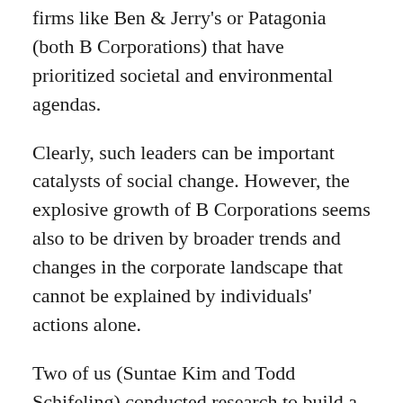firms like Ben & Jerry's or Patagonia (both B Corporations) that have prioritized societal and environmental agendas.
Clearly, such leaders can be important catalysts of social change. However, the explosive growth of B Corporations seems also to be driven by broader trends and changes in the corporate landscape that cannot be explained by individuals' actions alone.
Two of us (Suntae Kim and Todd Schifeling) conducted research to build a more robust understanding of the rise of B corporations. By qualitatively examining the internal motives of firms in the process of becoming a B corporation, and quantitatively testing key